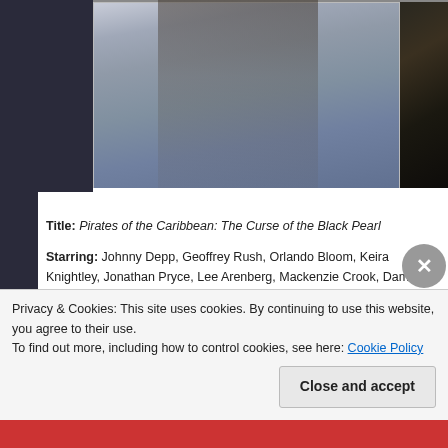[Figure (photo): Screenshot of a webpage showing movie images at top - a person with dark dreadlocked hair (Pirates of the Caribbean character) on the left panel and dark figure on the right panel]
Title: Pirates of the Caribbean: The Curse of the Black Pearl
Starring: Johnny Depp, Geoffrey Rush, Orlando Bloom, Keira Knightley, Jonathan Pryce, Lee Arenberg, Mackenzie Crook, Damian O'Hare
Released in: 2003
Directed by: Gore Verbinski
Written by: Ted Elliott, Terry Rossio
Based On: The Pirates of the Caribbean ride at DisneyLand
Light or Dark Fantasy?: Both
Fantastical Elements: Magic, curses, undead
5 Second Synopsis: When his love is kidnapped by pirates, a youn
Privacy & Cookies: This site uses cookies. By continuing to use this website, you agree to their use.
To find out more, including how to control cookies, see here: Cookie Policy
Close and accept